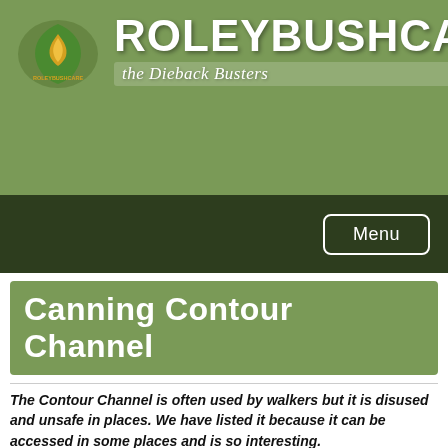[Figure (logo): Roleybushcare logo with green leaf and flame icon, text ROLEYBUSHCARE in white bold uppercase, subtitle 'the Dieback Busters' in italic white on green banner background]
Canning Contour Channel
The Contour Channel is often used by walkers but it is disused and unsafe in places. We have listed it because it can be accessed in some places and is so interesting.